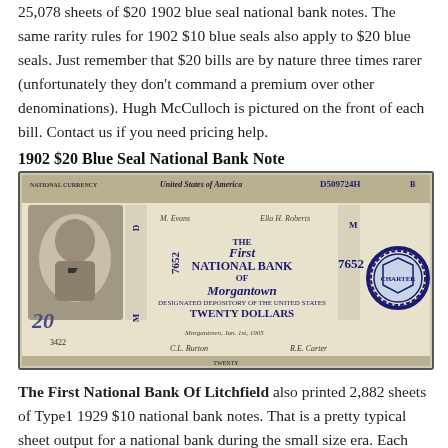25,078 sheets of $20 1902 blue seal national bank notes. The same rarity rules for 1902 $10 blue seals also apply to $20 blue seals. Just remember that $20 bills are by nature three times rarer (unfortunately they don't command a premium over other denominations). Hugh McCulloch is pictured on the front of each bill. Contact us if you need pricing help.
1902 $20 Blue Seal National Bank Note
[Figure (photo): Photo of a 1902 $20 Blue Seal National Bank Note from The First National Bank of Morgantown, serial number D509724H, charter number 7652, serial 3422.]
The First National Bank Of Litchfield also printed 2,882 sheets of Type1 1929 $10 national bank notes. That is a pretty typical sheet output for a national bank during the small size era. Each $10 bill from